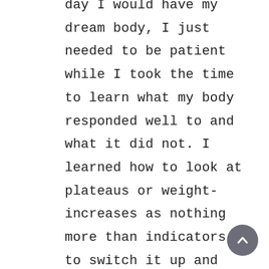day I would have my dream body, I just needed to be patient while I took the time to learn what my body responded well to and what it did not. I learned how to look at plateaus or weight-increases as nothing more than indicators to switch it up and try something else. It is shocking at just how easy it is to belittle ourselves and feel down, but as the saying goes: you can never step into the same river twice. Sure, your weight may be back up to where it was